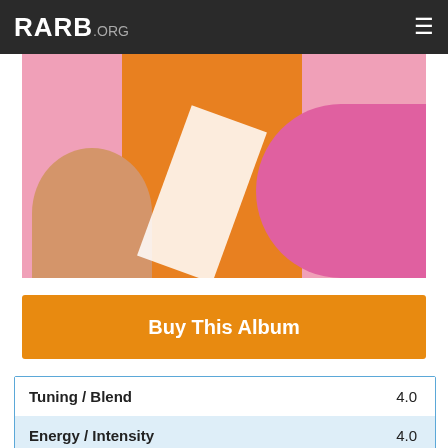RARB.ORG
[Figure (photo): Album cover photo showing figures in colorful orange, pink and white fashion clothing against a pink background]
Buy This Album
| Category | Score |
| --- | --- |
| Tuning / Blend | 4.0 |
| Energy / Intensity | 4.0 |
| Innovation / Creativity | 4.0 |
| Soloists | 4.0 |
| Sound / Production | 4.0 |
| Repeat Listenability | 3.3 |